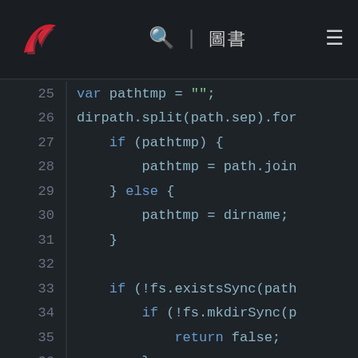Navigation bar with logo, search icon, divider, text, and hamburger menu
[Figure (screenshot): Code editor screenshot showing JavaScript code lines 25–40 with syntax highlighting on dark background]